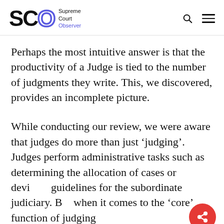SCO Supreme Court Observer
Perhaps the most intuitive answer is that the productivity of a Judge is tied to the number of judgments they write. This, we discovered, provides an incomplete picture.
While conducting our review, we were aware that judges do more than just ‘judging’. Judges perform administrative tasks such as determining the allocation of cases or devising guidelines for the subordinate judiciary. But when it comes to the ‘core’ function of judging